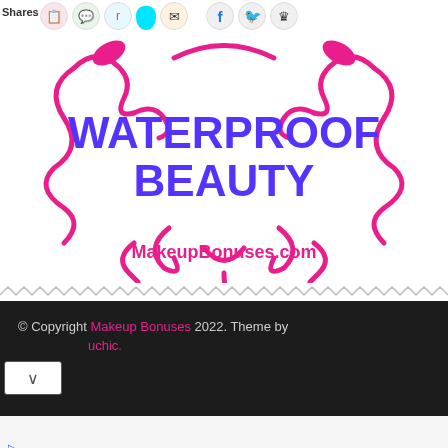Shares
[Figure (logo): Waterproof Beauty decorative logo with pink swirling ornamental borders and blue/purple bold text reading WATERPROOF BEAUTY, with MakeupBonuses.com in pink below]
© Copyright Makeup Bonuses 2022. Theme by uchic.
[Figure (infographic): Walgreens advertisement: Shop Walgreens Today / Walgreens Photo with Walgreens cursive W logo in red and a blue diamond navigation badge icon]